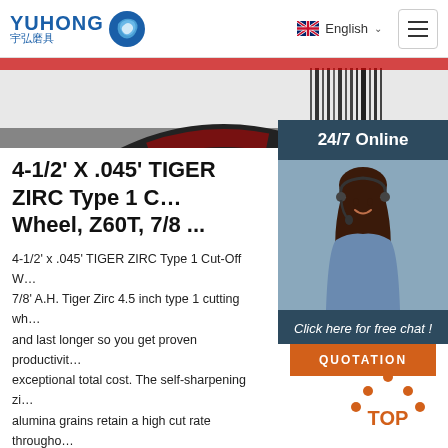YUHONG 宇弘磨具 | English
[Figure (photo): Partial view of a circular grinding/cut-off wheel with red and dark coloring, barcode visible]
4-1/2' X .045' TIGER ZIRC Type 1 Cut-Off Wheel, Z60T, 7/8 ...
4-1/2' x .045' TIGER ZIRC Type 1 Cut-Off Wheel, Z60T, 7/8' A.H. Tiger Zirc 4.5 inch type 1 cutting wheels cut faster and last longer so you get proven productivity that converts to exceptional total cost. The self-sharpening zirconia alumina grains retain a high cut rate throughout the life of the wheel while a hard bond delivers long wheel life in heavy ...
[Figure (photo): Customer service representative woman wearing headset, smiling, in sidebar panel with '24/7 Online' header and 'Click here for free chat!' text and QUOTATION button]
Get Price
[Figure (other): TOP button with orange dot triangle icon and orange text 'TOP']